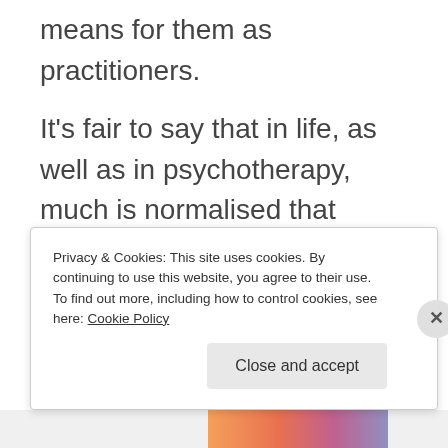means for them as practitioners.
It’s fair to say that in life, as well as in psychotherapy, much is normalised that should not be. There is an overwhelming societal drive to blame the individual for systemic failings. Individuals therefore feel that they have ‘failed’ because they are
Privacy & Cookies: This site uses cookies. By continuing to use this website, you agree to their use.
To find out more, including how to control cookies, see here: Cookie Policy
Close and accept